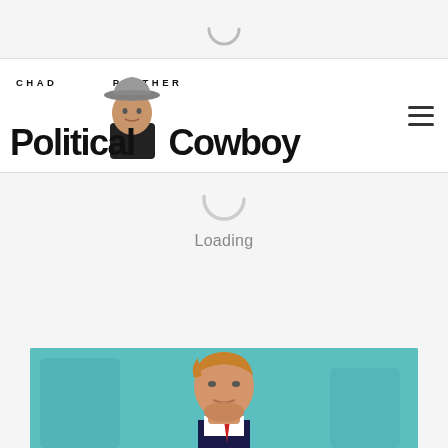[Figure (other): Loading spinner (arc, top portion visible) in gray top bar]
[Figure (logo): Chad Prather Political Cowboy logo with man in cowboy hat silhouette, black bold text on white background, and hamburger menu icon on right]
[Figure (other): Loading spinner (full circle arc visible) below header]
Loading
[Figure (photo): Partial photo of a person (appears to be Donald Trump) on teal/turquoise background, visible from chin up, bottom of page]